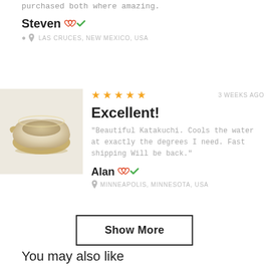purchased both where amazing.
Steven
LAS CRUCES, NEW MEXICO, USA
[Figure (other): Product image of a ceramic Katakuchi bowl, beige/cream colored, photographed on white background]
★★★★★  3 WEEKS AGO
Excellent!
"Beautiful Katakuchi. Cools the water at exactly the degrees I need. Fast shipping Will be back."
Alan
MINNEAPOLIS, MINNESOTA, USA
Show More
You may also like